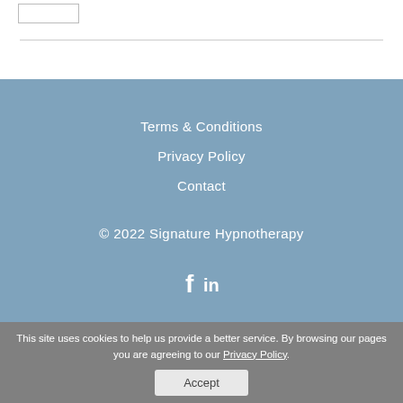Terms & Conditions
Privacy Policy
Contact
© 2022 Signature Hypnotherapy
[Figure (illustration): Facebook and LinkedIn social media icons]
This site uses cookies to help us provide a better service. By browsing our pages you are agreeing to our Privacy Policy.
Accept